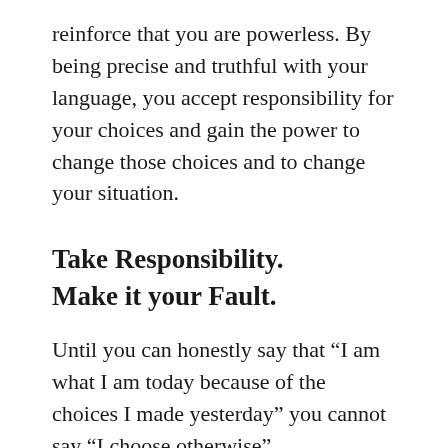reinforce that you are powerless. By being precise and truthful with your language, you accept responsibility for your choices and gain the power to change those choices and to change your situation.
Take Responsibility.
Make it your Fault.
Until you can honestly say that “I am what I am today because of the choices I made yesterday” you cannot say “I choose otherwise”.
Never blame others for failures.  Always blame yourself. The moment you blame another